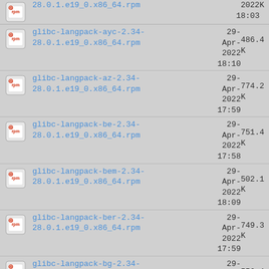28.0.1.e19_0.x86_64.rpm | 2022 18:03 | K
glibc-langpack-ayc-2.34-28.0.1.e19_0.x86_64.rpm | 29-Apr-2022 18:10 | 486.4 K
glibc-langpack-az-2.34-28.0.1.e19_0.x86_64.rpm | 29-Apr-2022 17:59 | 774.2 K
glibc-langpack-be-2.34-28.0.1.e19_0.x86_64.rpm | 29-Apr-2022 17:58 | 751.4 K
glibc-langpack-bem-2.34-28.0.1.e19_0.x86_64.rpm | 29-Apr-2022 18:09 | 502.1 K
glibc-langpack-ber-2.34-28.0.1.e19_0.x86_64.rpm | 29-Apr-2022 17:59 | 749.3 K
glibc-langpack-bg-2.34-28.0.1.e19_0.x86_64.rpm | 29-Apr-2022 18:00 | 556.4 K
glibc-langpack-bhb-2.34-28.0.1.e19_0.x86_64.rpm | 29-Apr-2022 18:09 | 503.5 K